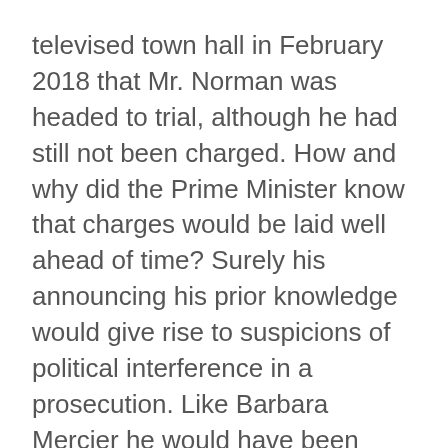televised town hall in February 2018 that Mr. Norman was headed to trial, although he had still not been charged. How and why did the Prime Minister know that charges would be laid well ahead of time? Surely his announcing his prior knowledge would give rise to suspicions of political interference in a prosecution. Like Barbara Mercier he would have been better off remembering the Korean proverb quoted at the top of this post.
On one theory, he knew because the Prime Minister's Office (PMO) had been involved in political interference in this case. As noted earlier, that theory may gain some support